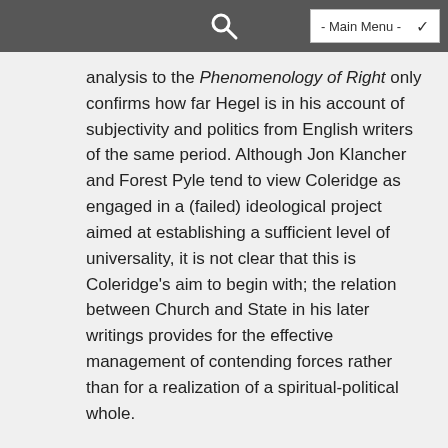- Main Menu -
analysis to the Phenomenology of Right only confirms how far Hegel is in his account of subjectivity and politics from English writers of the same period. Although Jon Klancher and Forest Pyle tend to view Coleridge as engaged in a (failed) ideological project aimed at establishing a sufficient level of universality, it is not clear that this is Coleridge's aim to begin with; the relation between Church and State in his later writings provides for the effective management of contending forces rather than for a realization of a spiritual-political whole.
15. Another way of stating the problems with these two models for their descriptive value for Romantic literature is that the enlightenment argument mischaracterizes the weight of belief in politics, while the Hegelian argument